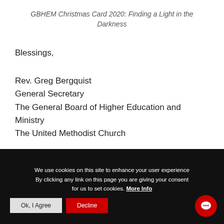GBHEM Christmas Card 2020: Finding a Light in the Darkness
Blessings,
Rev. Greg Bergquist
General Secretary
The General Board of Higher Education and Ministry
The United Methodist Church
We use cookies on this site to enhance your user experience By clicking any link on this page you are giving your consent for us to set cookies. More Info
Ok, I Agree  Decline